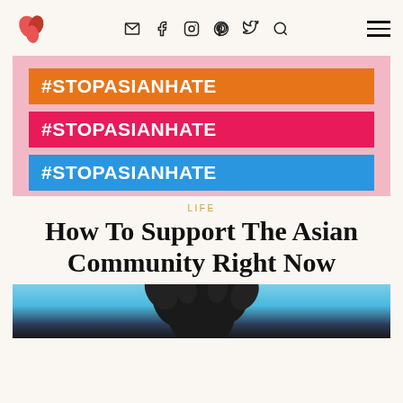Blog/lifestyle website header with logo and navigation icons (email, facebook, instagram, pinterest, twitter, search) and hamburger menu
[Figure (infographic): Pink background graphic with three colored bars: orange, pink/red, and blue, each containing white bold text '#STOPASIANHATE']
LIFE
How To Support The Asian Community Right Now
[Figure (photo): Partial photo showing the top of a person with curly dark hair against a light blue background, cropped at bottom of page]